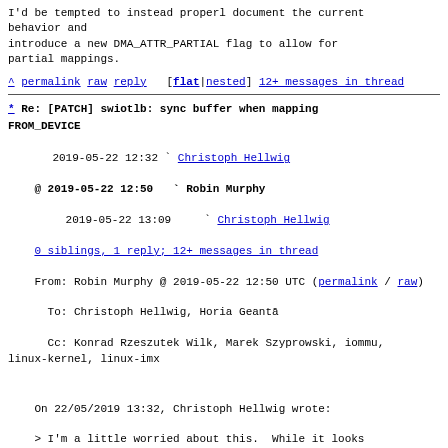I'd be tempted to instead properl document the current behavior and
introduce a new DMA_ATTR_PARTIAL flag to allow for partial mappings.
^ permalink raw reply   [flat|nested] 12+ messages in thread
* Re: [PATCH] swiotlb: sync buffer when mapping FROM_DEVICE
2019-05-22 12:32  ` Christoph Hellwig
@ 2019-05-22 12:50    ` Robin Murphy
  2019-05-22 13:09      ` Christoph Hellwig
  0 siblings, 1 reply; 12+ messages in thread
From: Robin Murphy @ 2019-05-22 12:50 UTC (permalink / raw)
  To: Christoph Hellwig, Horia Geantā
  Cc: Konrad Rzeszutek Wilk, Marek Szyprowski, iommu, linux-kernel, linux-imx
On 22/05/2019 13:32, Christoph Hellwig wrote:
> I'm a little worried about this.  While it looks functionally correct
> we have surived without it, and doing another copy for every swiotlb
> dma mapping from the device looks extremely painful for the typical use
> cases where we expect the device to transfer the whole mapping.